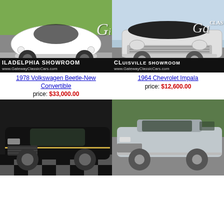[Figure (photo): 1978 Volkswagen Beetle-New Convertible, white, Philadelphia Showroom, GatewayClassicCars.com]
[Figure (photo): 1964 Chevrolet Impala, white/silver, Louisville Showroom, GatewayClassicCars.com]
1978 Volkswagen Beetle-New Convertible
price: $33,000.00
1964 Chevrolet Impala
price: $12,600.00
[Figure (photo): Classic black muscle car, bottom left]
[Figure (photo): Silver Ford Mustang, bottom right]